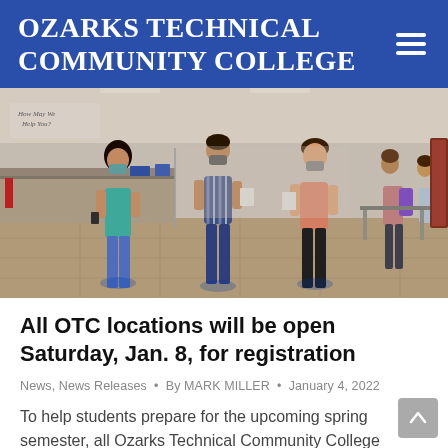Ozarks Technical Community College
[Figure (photo): Students and staff wearing face masks standing inside an Ozarks Technical Community College building lobby, practicing social distancing during registration. A service counter is visible on the left with a 'How May We Help You?' sign. Several people are spaced apart on a tiled floor.]
All OTC locations will be open Saturday, Jan. 8, for registration
News, News Releases • By MARK MILLER • January 4, 2022
To help students prepare for the upcoming spring semester, all Ozarks Technical Community College